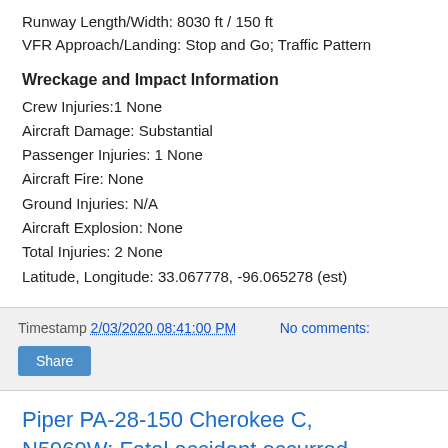Runway Length/Width: 8030 ft / 150 ft
VFR Approach/Landing: Stop and Go; Traffic Pattern
Wreckage and Impact Information
Crew Injuries:1 None
Aircraft Damage: Substantial
Passenger Injuries: 1 None
Aircraft Fire: None
Ground Injuries: N/A
Aircraft Explosion: None
Total Injuries: 2 None
Latitude, Longitude: 33.067778, -96.065278 (est)
Timestamp 2/03/2020 08:41:00 PM   No comments:
Share
Piper PA-28-150 Cherokee C, N5969W: Fatal accident occurred